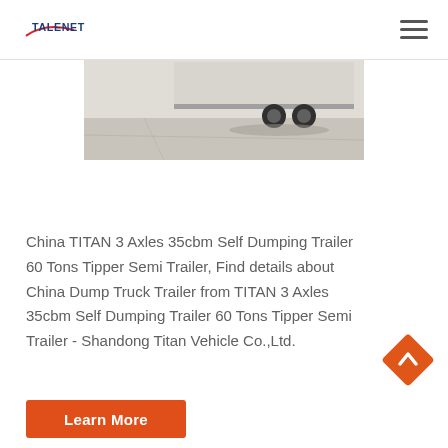TALENET
[Figure (photo): Bottom portion of a semi-trailer/tipper truck photographed outdoors on a concrete surface, showing the rear axles and wheels.]
China TITAN 3 Axles 35cbm Self Dumping Trailer 60 Tons Tipper Semi Trailer, Find details about China Dump Truck Trailer from TITAN 3 Axles 35cbm Self Dumping Trailer 60 Tons Tipper Semi Trailer - Shandong Titan Vehicle Co.,Ltd.
[Figure (other): Orange diamond-shaped scroll-to-top button with upward arrow]
Learn More